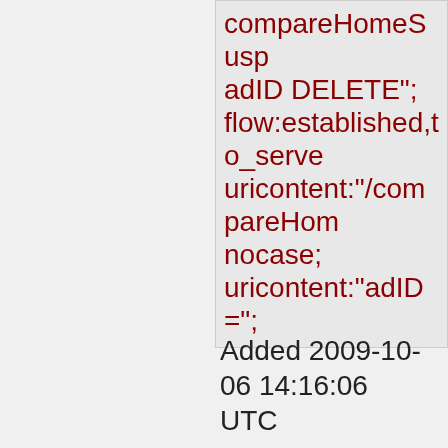compareHomeSusp adID DELETE"; flow:established,to_serve uricontent:"/compareHom nocase; uricontent:"adID="; nocase; uricontent:"DELETE"; nocase; pcre:"/.+DELETE.+FROM classtype:web-application-attack; reference:cve,CVE-2006-6204; reference:url,www.securit reference:url,doc.emergin reference:url,www.emergi bin/cvsweb.cgi/sigs/WEB_ sid:2007121; rev:4;)
Added 2009-10-06 14:16:06 UTC